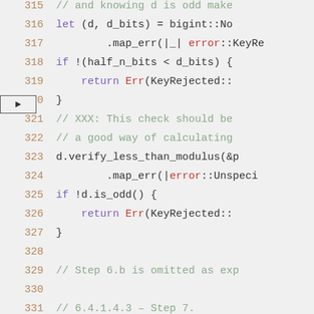[Figure (screenshot): Source code screenshot showing Rust code lines 315-334 with syntax highlighting. Line 320 has an arrow indicator pointing to it.]